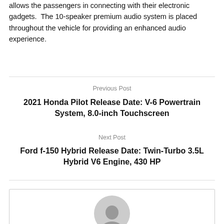allows the passengers in connecting with their electronic gadgets. The 10-speaker premium audio system is placed throughout the vehicle for providing an enhanced audio experience.
Previous Post
2021 Honda Pilot Release Date: V-6 Powertrain System, 8.0-inch Touchscreen
Next Post
Ford f-150 Hybrid Release Date: Twin-Turbo 3.5L Hybrid V6 Engine, 430 HP
[Figure (photo): Circular avatar image showing a person silhouette, partially visible at the bottom of the page]